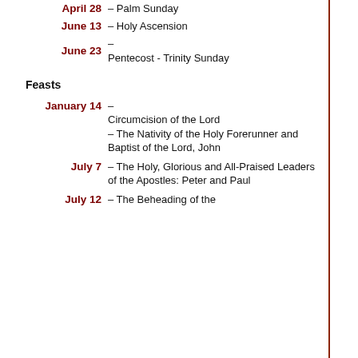| Date | Description |
| --- | --- |
| April 28 | – Palm Sunday |
| June 13 | – Holy Ascension |
| June 23 | – Pentecost - Trinity Sunday |
Feasts
| Date | Description |
| --- | --- |
| January 14 | – Circumcision of the Lord – The Nativity of the Holy Forerunner and Baptist of the Lord, John |
| July 7 | – The Holy, Glorious and All-Praised Leaders of the Apostles: Peter and Paul |
| July 12 | – The Beheading of the Forerunner... |